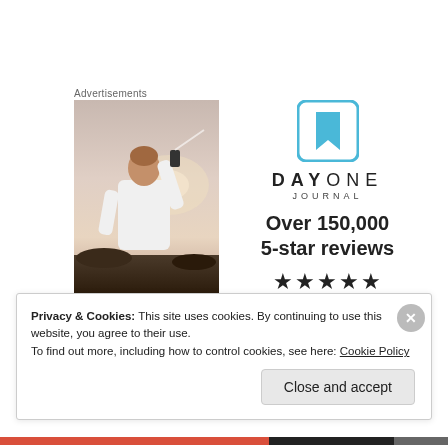Advertisements
[Figure (photo): Person from behind holding a phone taking a photo at sunset, wearing a white t-shirt, outdoors on rocky terrain with a warm sky backdrop]
[Figure (logo): Day One Journal app advertisement: blue bookmark icon logo, DAYONE JOURNAL text, 'Over 150,000 5-star reviews', five black stars, and a blue horizontal line]
Privacy & Cookies: This site uses cookies. By continuing to use this website, you agree to their use.
To find out more, including how to control cookies, see here: Cookie Policy
Close and accept